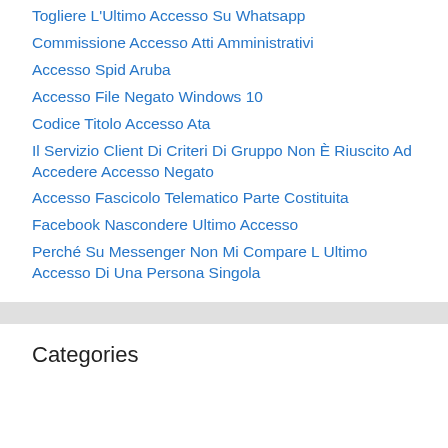Togliere L'Ultimo Accesso Su Whatsapp
Commissione Accesso Atti Amministrativi
Accesso Spid Aruba
Accesso File Negato Windows 10
Codice Titolo Accesso Ata
Il Servizio Client Di Criteri Di Gruppo Non È Riuscito Ad Accedere Accesso Negato
Accesso Fascicolo Telematico Parte Costituita
Facebook Nascondere Ultimo Accesso
Perché Su Messenger Non Mi Compare L Ultimo Accesso Di Una Persona Singola
Categories